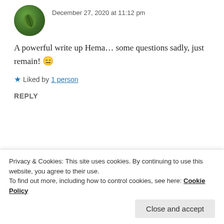December 27, 2020 at 11:12 pm
A powerful write up Hema… some questions sadly, just remain! 😑
★ Liked by 1 person
REPLY
HEMALATHA RAMESH
December 28, 2020 at 11:30 am
Privacy & Cookies: This site uses cookies. By continuing to use this website, you agree to their use.
To find out more, including how to control cookies, see here: Cookie Policy
Close and accept